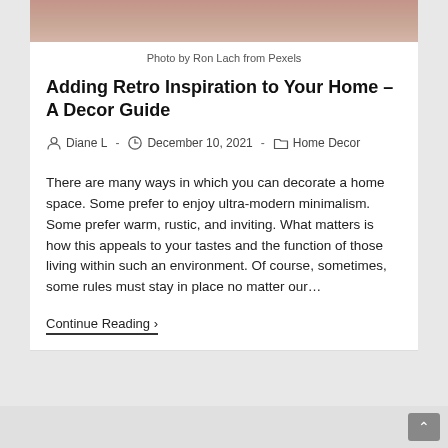[Figure (photo): Top portion of a decorative home decor photo, showing warm pinkish/mauve tones]
Photo by Ron Lach from Pexels
Adding Retro Inspiration to Your Home – A Decor Guide
Diane L  -  December 10, 2021  -  Home Decor
There are many ways in which you can decorate a home space. Some prefer to enjoy ultra-modern minimalism. Some prefer warm, rustic, and inviting. What matters is how this appeals to your tastes and the function of those living within such an environment. Of course, sometimes, some rules must stay in place no matter our…
Continue Reading ❯